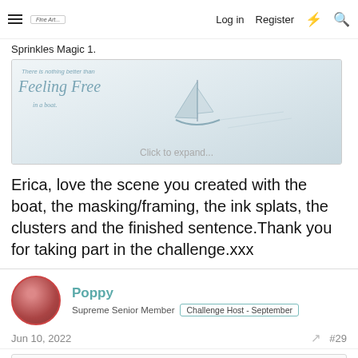Log in  Register  [lightning] [search]
Sprinkles Magic 1.
[Figure (illustration): A watercolor-style image of a sailboat with cursive text reading 'There is nothing better than Feeling Free in a boat'. A 'Click to expand...' button is overlaid at the bottom.]
Erica, love the scene you created with the boat, the masking/framing, the ink splats, the clusters and the finished sentence.Thank you for taking part in the challenge.xxx
Poppy
Supreme Senior Member  Challenge Host - September
Jun 10, 2022  #29
Glyn said:  Thanks for hosting the challenge Mary.